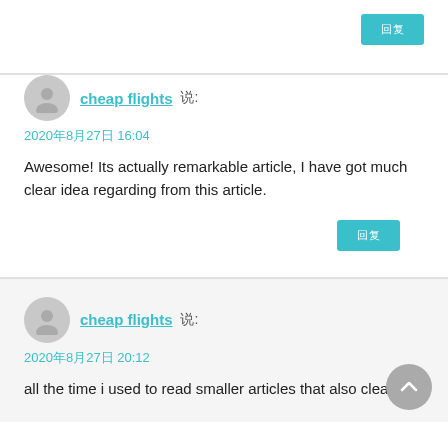[Figure (other): Gray avatar circle icon for user profile]
cheap flights 说:
2020年8月27日 16:04
Awesome! Its actually remarkable article, I have got much clear idea regarding from this article.
回复
[Figure (other): Gray avatar circle icon for user profile]
cheap flights 说:
2020年8月27日 20:12
all the time i used to read smaller articles that also clear t
[Figure (other): Gray circle back-to-top button with upward chevron arrow]